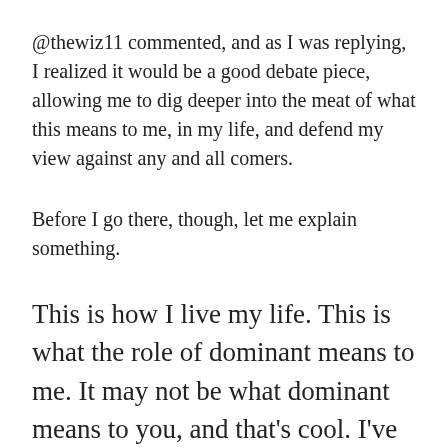@thewiz11 commented, and as I was replying, I realized it would be a good debate piece, allowing me to dig deeper into the meat of what this means to me, in my life, and defend my view against any and all comers.
Before I go there, though, let me explain something.
This is how I live my life. This is what the role of dominant means to me. It may not be what dominant means to you, and that’s cool. I’ve written a lot about dominance and submission and how they are sliding scales and